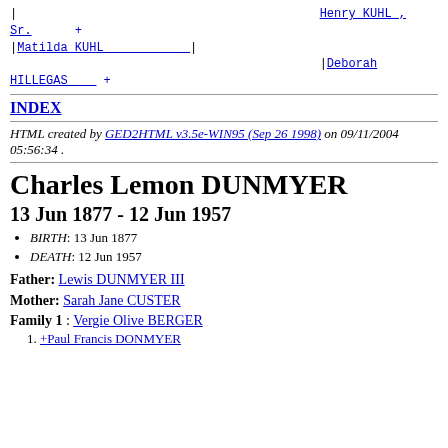[Figure (other): Genealogy ancestry tree diagram showing Henry KUHL, Sr. + and Deborah HILLEGAS + connected to Matilda KUHL with pipe characters]
INDEX
HTML created by GED2HTML v3.5e-WIN95 (Sep 26 1998) on 09/11/2004 05:56:34 .
Charles Lemon DUNMYER
13 Jun 1877 - 12 Jun 1957
BIRTH: 13 Jun 1877
DEATH: 12 Jun 1957
Father: Lewis DUNMYER III
Mother: Sarah Jane CUSTER
Family 1 : Vergie Olive BERGER
+Paul Francis DONMYER